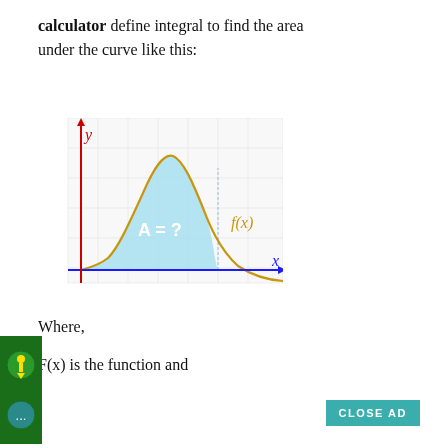calculator define integral to find the area under the curve like this:
[Figure (math-figure): Graph showing a bell-curve shaped function f(x) with shaded area A=? beneath the curve between two x-values, with red y-axis arrow, blue x-axis arrow with arrowhead, and gold/yellow curve labeled f(x). The shaded region is light blue.]
Where,
F(x) is the function and